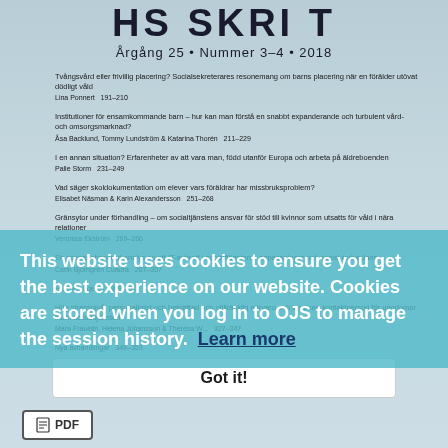Årgång 25 • Nummer 3–4 • 2018
Tvångsvård eller frivillig placering? Socialsekreterares resonemang om barns placering när en förälder utövat dödligt våld
Lina Ponnert   191–210
Institutioner för ensamkommande barn – hur kan man förstå en snabbt expanderande och turbulent vård- och omsorgsmarknad?
Åsa Backlund, Tommy Lundström & Katarina Thorén   211–229
I en annan situation? Erfarenheter av att vara man, född utanför Europa och arbeta på äldreboenden
Palle Storm   231–249
Vad säger skoldokumentation om elever vars föräldrar har missbruksproblem?
Elisabet Näsman & Karin Alexandersson   251–268
Gränsyntor under förhandling – om socialtjänstens ansvar för stöd till kvinnor som utsatts för våld i nära relationer
Veronica Ekström   269–286
En scenariobaserad analys av ett IT-avbrott i socialfjänsten – anpassningar och social redundans.
Carin Björngren Cuadra   287–307
... 309–326
Helene Lagerlöf   309–326
Hög stressnivå, personalbrist och bekräftad och otillräcklig närvaro och insatsen kontaktperson för ungdomar inom socialitjänsten
Mara Frauelin, Helena Johansson & Therésa W...   327–347
Nya avhandlingar   349–353
...   355–356
This website uses cookies to ensure you get the best experience on our website. Cookies are stored when you log in to OJS to manage the session history.  Learn more
Got it!
PDF